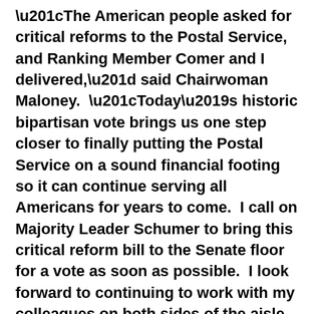“The American people asked for critical reforms to the Postal Service, and Ranking Member Comer and I delivered,” said Chairwoman Maloney.  “Today’s historic bipartisan vote brings us one step closer to finally putting the Postal Service on a sound financial footing so it can continue serving all Americans for years to come.  I call on Majority Leader Schumer to bring this critical reform bill to the Senate floor for a vote as soon as possible.  I look forward to continuing to work with my colleagues on both sides of the aisle to get this critical reform done